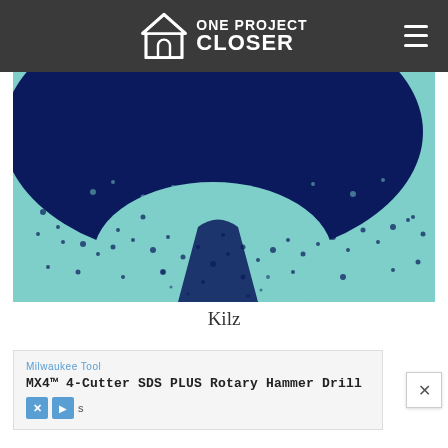One Project Closer
[Figure (photo): Close-up photo of dark navy blue paint being applied or sprayed over a light teal/mint background, showing the edge/spray pattern of the paint coverage]
Kilz
Milwaukee Tool
MX4™ 4-Cutter SDS PLUS Rotary Hammer Drill